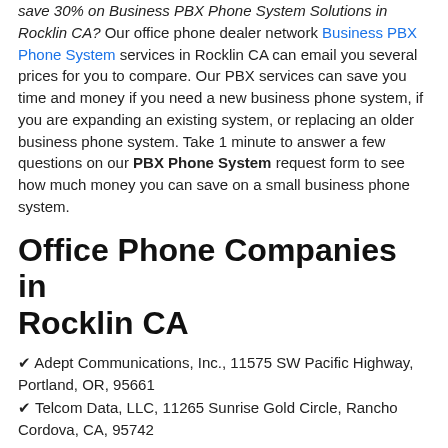save 30% on Business PBX Phone System Solutions in Rocklin CA? Our office phone dealer network Business PBX Phone System services in Rocklin CA can email you several prices for you to compare. Our PBX services can save you time and money if you need a new business phone system, if you are expanding an existing system, or replacing an older business phone system. Take 1 minute to answer a few questions on our PBX Phone System request form to see how much money you can save on a small business phone system.
Office Phone Companies in Rocklin CA
✔ Adept Communications, Inc., 11575 SW Pacific Highway, Portland, OR, 95661
✔ Telcom Data, LLC, 11265 Sunrise Gold Circle, Rancho Cordova, CA, 95742
✔ IBS, 500 J St, Sacramento, CA, 95814